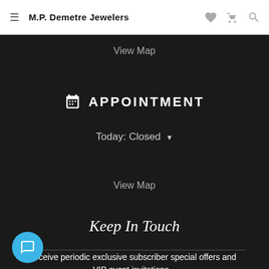M.P. Demetre Jewelers
View Map
APPOINTMENT
Today: Closed
View Map
Keep In Touch
Receive periodic exclusive subscriber special offers and VIP event invitations.